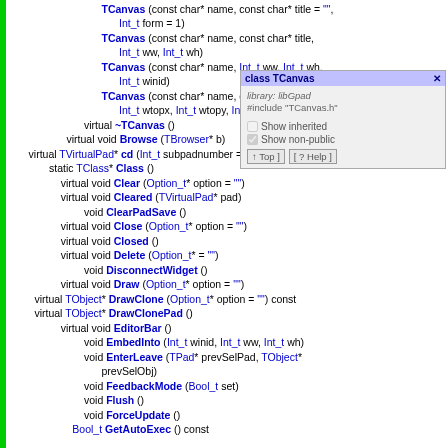TCanvas (const char* name, const char* title = "",
    Int_t form = 1)
TCanvas (const char* name, const char* title,
    Int_t ww, Int_t wh)
TCanvas (const char* name, Int_t ww, Int_t wh,
    Int_t winid)
TCanvas (const char* name, const char* title,
    Int_t wtopx, Int_t wtopy, Int_t ww, Int_t wh)
virtual ~TCanvas ()
virtual void Browse (TBrowser* b)
virtual TVirtualPad* cd (Int_t subpadnumber = 0)
static TClass* Class ()
virtual void Clear (Option_t* option = "")
virtual void Cleared (TVirtualPad* pad)
void ClearPadSave ()
virtual void Close (Option_t* option = "")
virtual void Closed ()
virtual void Delete (Option_t* = "")
void DisconnectWidget ()
virtual void Draw (Option_t* option = "")
virtual TObject* DrawClone (Option_t* option = "") const
virtual TObject* DrawClonePad ()
virtual void EditorBar ()
void EmbedInto (Int_t winid, Int_t ww, Int_t wh)
void EnterLeave (TPad* prevSelPad, TObject* prevSelObj)
void FeedbackMode (Bool_t set)
void Flush ()
void ForceUpdate ()
Bool_t GetAutoExec () const
[Figure (screenshot): Tooltip popup showing 'class TCanvas' header, library: libGpad, #include "TCanvas.h", Show inherited checkbox (unchecked), Show non-public checkbox (checked), Top and Help buttons]